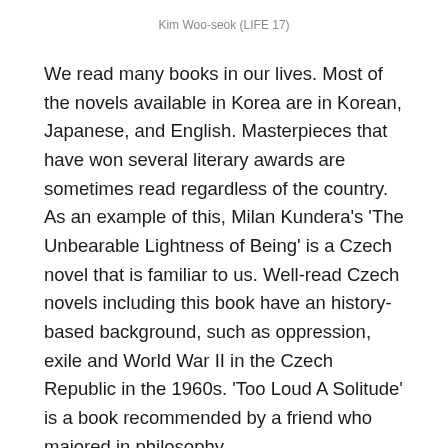Kim Woo-seok (LIFE 17)
We read many books in our lives. Most of the novels available in Korea are in Korean, Japanese, and English. Masterpieces that have won several literary awards are sometimes read regardless of the country. As an example of this, Milan Kundera's 'The Unbearable Lightness of Being' is a Czech novel that is familiar to us. Well-read Czech novels including this book have an history-based background, such as oppression, exile and World War II in the Czech Republic in the 1960s. 'Too Loud A Solitude' is a book recommended by a friend who majored in philosophy.
This book is about a man named Hanta. He had been compressing waste paper for 35 years, regarding his labor as vocation. He would sometimes find books written by philosophers and poets into it, rescuing lots of them...